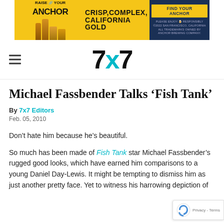[Figure (other): Anchor Brewing advertisement banner with yellow background, beer bottles, text RAISE YOUR ANCHOR, CRISP COMPLEX CALIFORNIA GOLD, and FIND YOUR ANCHOR button on blue panel]
7x7
Michael Fassbender Talks ‘Fish Tank’
By 7x7 Editors
Feb. 05, 2010
Don’t hate him because he’s beautiful.
So much has been made of Fish Tank star Michael Fassbender’s rugged good looks, which have earned him comparisons to a young Daniel Day-Lewis. It might be tempting to dismiss him as just another pretty face. Yet to witness his harrowing depiction of